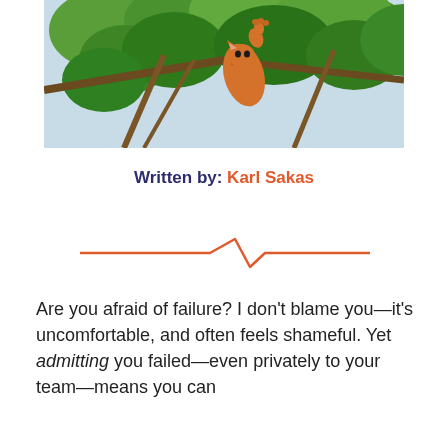[Figure (photo): A tabby cat climbing or hanging in a tree among green leaves and branches, photographed from below.]
Written by: Karl Sakas
[Figure (other): Orange decorative divider line with a zigzag/lightning bolt shape in the middle]
Are you afraid of failure? I don't blame you—it's uncomfortable, and often feels shameful. Yet admitting you failed—even privately to your team—means you can